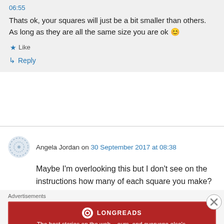06:55
Thats ok, your squares will just be a bit smaller than others. As long as they are all the same size you are ok 😊
★ Like
↳ Reply
Angela Jordan on 30 September 2017 at 08:38
Maybe I'm overlooking this but I don't see on the instructions how many of each square you make?
Advertisements
[Figure (logo): Longreads advertisement banner: red background with Longreads logo and tagline 'The best stories on the web – ours, and everyone else's.']